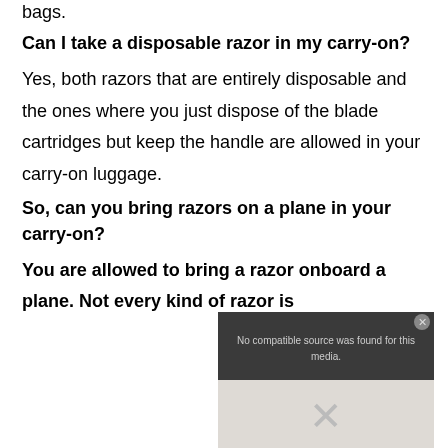bags.
Can I take a disposable razor in my carry-on?
Yes, both razors that are entirely disposable and the ones where you just dispose of the blade cartridges but keep the handle are allowed in your carry-on luggage.
So, can you bring razors on a plane in your carry-on?
You are allowed to bring a razor onboard a plane. Not every kind of razor is
[Figure (screenshot): Video player overlay showing 'No compatible source was found for this media.' with a close button and an X icon below on a light background thumbnail.]